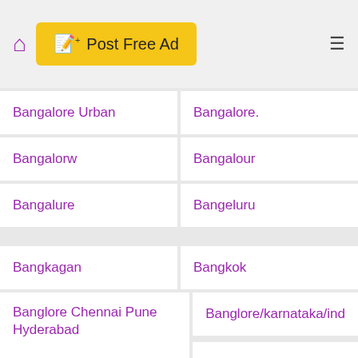Post Free Ad
Bangalore Urban
Bangalore.
Bangalorw
Bangalour
Bangalure
Bangeluru
Bangkagan
Bangkok
Banglore Chennai Pune Hyderabad
Banglore/karnataka/ind
Bangoler
Bangolore
Bangolour
Bangor
Bangulore
Banjara Hills
Banjara Hills Road No 12